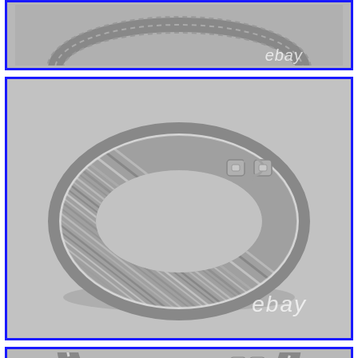[Figure (photo): Top partial panel showing silver cable bracelet with eBay watermark, blue border frame, light gray background]
[Figure (photo): Main center panel showing David Yurman-style silver cable bracelet, twisted rope design with hook clasp, photographed on light gray background with eBay watermark, blue border frame]
[Figure (photo): Bottom partial panel showing silver cable bracelet clasp detail, blue border frame, light gray background]